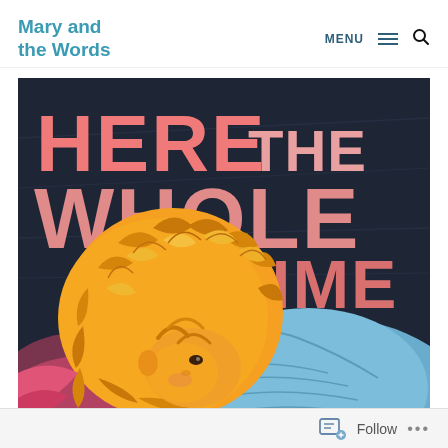Mary and the Words
[Figure (illustration): Book cover for 'Here the Whole Time' by Vitor Martins. Dark navy background with large pink and salmon-colored hand-lettered title text reading 'HERE THE WHOLE TIME'. Below the title is 'VITOR MARTINS' in smaller pink letters. An illustrated figure of a person with voluminous orange/golden curly hair and wearing a blue top is shown from behind/side, looking downward.]
Follow ...